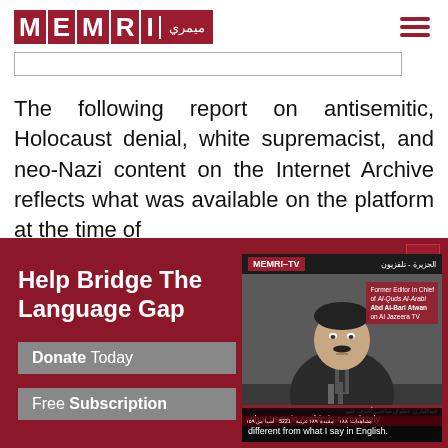[Figure (logo): MEMRI logo - red boxes with white letters M, E, M, R, I and Arabic text]
The following report on antisemitic, Holocaust denial, white supremacist, and neo-Nazi content on the Internet Archive reflects what was available on the platform at the time of
[Figure (screenshot): MEMRI donation banner in dark red. Left side: 'Help Bridge The Language Gap', 'Donate Today', 'Free Subscription' buttons. Right side: MEMRI-TV video thumbnail showing a man speaking with subtitle 'what I say in Arabic is completely different from what I say in English.' Label: Former Editor in Chief of Al-Quds Al-Arabi Abd Al-Bari Atwan on Al Jazeera TV. Close button (X) in top right.]